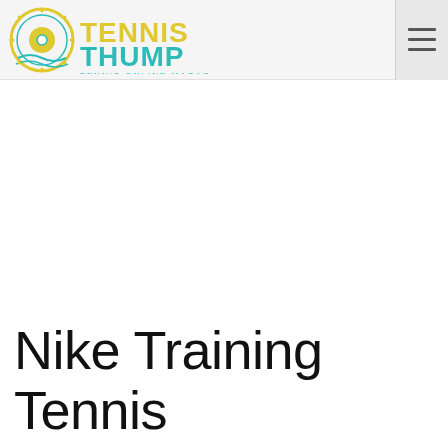Tennis Thump – Tennis Online Magazine
Nike Training Tennis